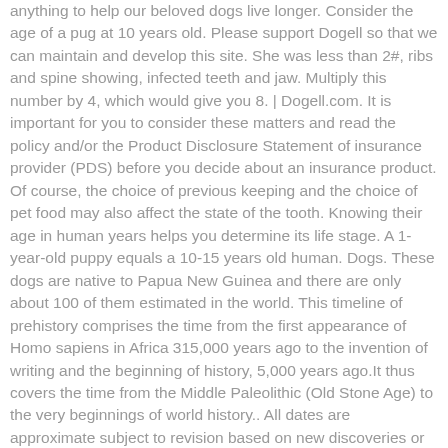anything to help our beloved dogs live longer. Consider the age of a pug at 10 years old. Please support Dogell so that we can maintain and develop this site. She was less than 2#, ribs and spine showing, infected teeth and jaw. Multiply this number by 4, which would give you 8. | Dogell.com. It is important for you to consider these matters and read the policy and/or the Product Disclosure Statement of insurance provider (PDS) before you decide about an insurance product. Of course, the choice of previous keeping and the choice of pet food may also affect the state of the tooth. Knowing their age in human years helps you determine its life stage. A 1-year-old puppy equals a 10-15 years old human. Dogs. These dogs are native to Papua New Guinea and there are only about 100 of them estimated in the world. This timeline of prehistory comprises the time from the first appearance of Homo sapiens in Africa 315,000 years ago to the invention of writing and the beginning of history, 5,000 years ago.It thus covers the time from the Middle Paleolithic (Old Stone Age) to the very beginnings of world history.. All dates are approximate subject to revision based on new discoveries or ... While some animals are prone to contracting breed-specific diseases and conditions other breeds are genetically tuned to live longer so the maximum of a dog's age can highly depend on its breed. My Maltese has raspy breathing heavy cough struggle for